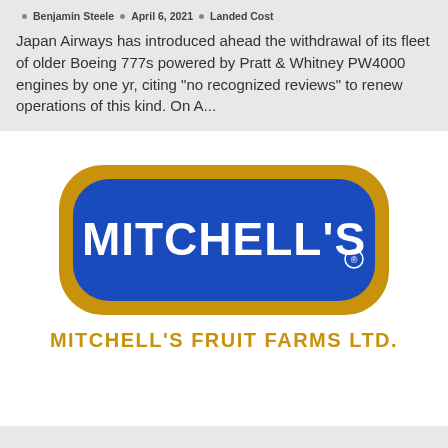Benjamin Steele · April 6, 2021 · Landed Cost
Japan Airways has introduced ahead the withdrawal of its fleet of older Boeing 777s powered by Pratt & Whitney PW4000 engines by one yr, citing "no recognized reviews" to renew operations of this kind. On A...
[Figure (logo): Mitchell's Fruit Farms Ltd. logo — blue rounded rectangle badge with gold border and 'MITCHELL'S' in white text, with 'MITCHELL'S FRUIT FARMS LTD.' in gold text below]